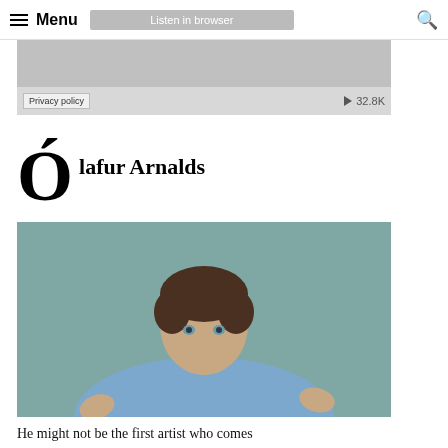Menu | Listen in browser
[Figure (screenshot): Audio player widget with privacy policy label and play button showing 32.8K]
Ólafur Arnalds
[Figure (photo): Portrait photo of a young man with brown hair wearing a blue shirt, arms crossed, looking at camera against a teal background]
He might not be the first artist who comes